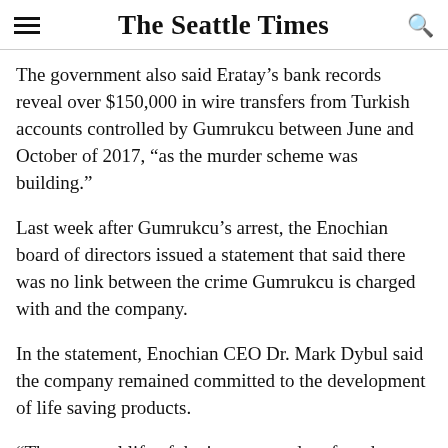The Seattle Times
The government also said Eratay’s bank records reveal over $150,000 in wire transfers from Turkish accounts controlled by Gumrukcu between June and October of 2017, “as the murder scheme was building.”
Last week after Gumrukcu’s arrest, the Enochian board of directors issued a statement that said there was no link between the crime Gumrukcu is charged with and the company.
In the statement, Enochian CEO Dr. Mark Dybul said the company remained committed to the development of life saving products.
“The personal life of the inventor and co-founder